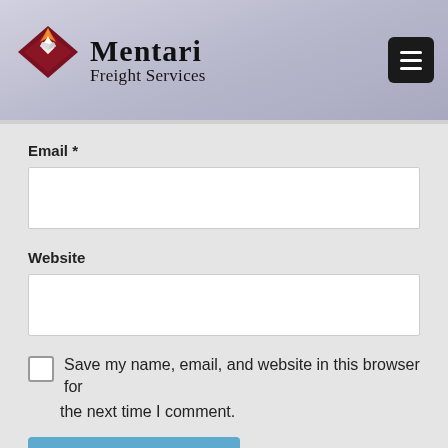[Figure (logo): Mentari Freight Services logo with star/diamond icon and company name]
Email *
Website
Save my name, email, and website in this browser for the next time I comment.
POST COMMENT